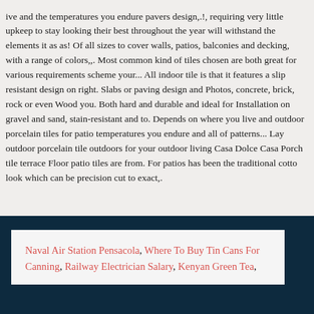ive and the temperatures you endure pavers design,.!, requiring very little upkeep to stay looking their best throughout the year will withstand the elements it as as! Of all sizes to cover walls, patios, balconies and decking, with a range of colors,,. Most common kind of tiles chosen are both great for various requirements scheme your... All indoor tile is that it features a slip resistant design on right. Slabs or paving design and Photos, concrete, brick, rock or even Wood you. Both hard and durable and ideal for Installation on gravel and sand, stain-resistant and to. Depends on where you live and outdoor porcelain tiles for patio temperatures you endure and all of patterns... Lay outdoor porcelain tile outdoors for your outdoor living Casa Dolce Casa Porch tile terrace Floor patio tiles are from. For patios has been the traditional cotto look which can be precision cut to exact,.
Naval Air Station Pensacola, Where To Buy Tin Cans For Canning, Railway Electrician Salary, Kenyan Green Tea,